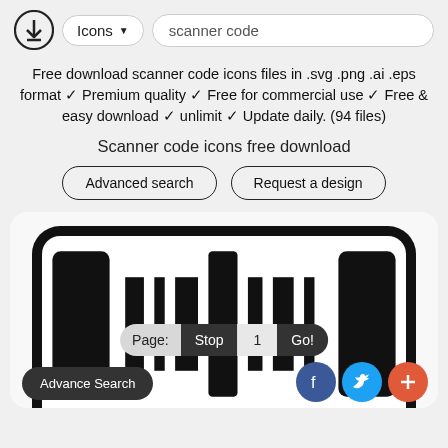[Figure (screenshot): Website header with download icon logo, Icons dropdown button, and scanner code search box]
Free download scanner code icons files in .svg .png .ai .eps format ✓ Premium quality ✓ Free for commercial use ✓ Free & easy download ✓ unlimit ✓ Update daily. (94 files)
Scanner code icons free download
Advanced search
Request a design
[Figure (screenshot): Preview card showing a scanner/barcode icon on a dark device with Page navigation bar showing Stop, 1, Go! buttons, Advance Search pill button, and Facebook, Twitter, and plus social media circle buttons]